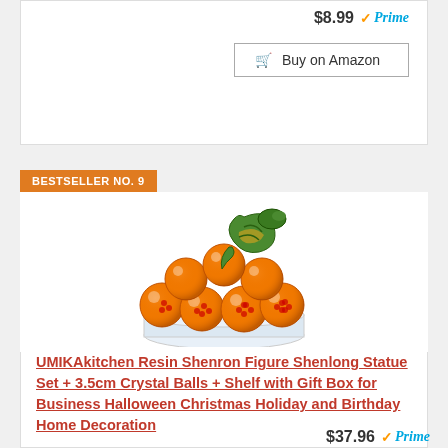$8.99 Prime
Buy on Amazon
BESTSELLER NO. 9
[Figure (photo): UMIKAkitchen Resin Shenron Figure Shenlong Statue Set with crystal balls and display shelf]
UMIKAkitchen Resin Shenron Figure Shenlong Statue Set + 3.5cm Crystal Balls + Shelf with Gift Box for Business Halloween Christmas Holiday and Birthday Home Decoration
$37.96 Prime